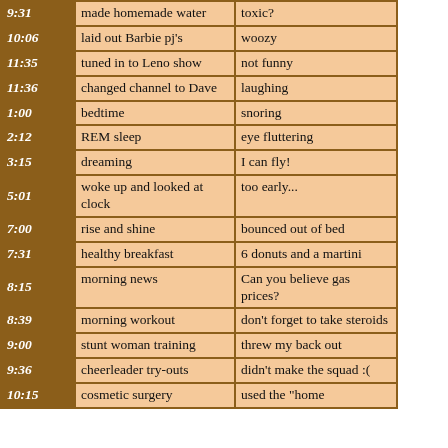| Time | Activity | Note |
| --- | --- | --- |
| 9:31 | made homemade water | toxic? |
| 10:06 | laid out Barbie pj's | woozy |
| 11:35 | tuned in to Leno show | not funny |
| 11:36 | changed channel to Dave | laughing |
| 1:00 | bedtime | snoring |
| 2:12 | REM sleep | eye fluttering |
| 3:15 | dreaming | I can fly! |
| 5:01 | woke up and looked at clock | too early... |
| 7:00 | rise and shine | bounced out of bed |
| 7:31 | healthy breakfast | 6 donuts and a martini |
| 8:15 | morning news | Can you believe gas prices? |
| 8:39 | morning workout | don't forget to take steroids |
| 9:00 | stunt woman training | threw my back out |
| 9:36 | cheerleader try-outs | didn't make the squad :( |
| 10:15 | cosmetic surgery | used the "home |